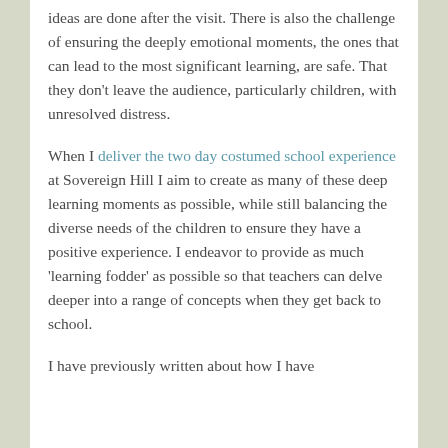ideas are done after the visit.  There is also the challenge of ensuring the deeply emotional moments, the ones that can lead to the most significant learning, are safe.  That they don't leave the audience, particularly children, with unresolved distress.
When I deliver the two day costumed school experience at Sovereign Hill I aim to create as many of these deep learning moments as possible, while still balancing the diverse needs of the children to ensure they have a positive experience.  I endeavor to provide as much 'learning fodder' as possible so that teachers can delve deeper into a range of concepts when they get back to school.
I have previously written about how I have